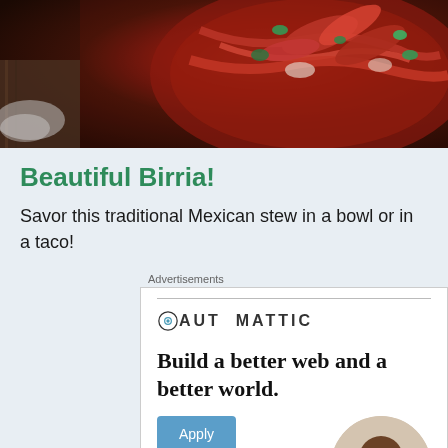[Figure (photo): Close-up photograph of birria, a traditional Mexican stew/taco with red stewed meat, pickled red onions, cilantro, and broth on a wooden surface with salt visible]
Beautiful Birria!
Savor this traditional Mexican stew in a bowl or in a taco!
Advertisements
[Figure (logo): Automattic company logo with circular 'O' icon containing a blue dot and ring]
Build a better web and a better world.
[Figure (photo): Circular cropped photo of a Black man with glasses and beard in a thoughtful pose, wearing a beige shirt]